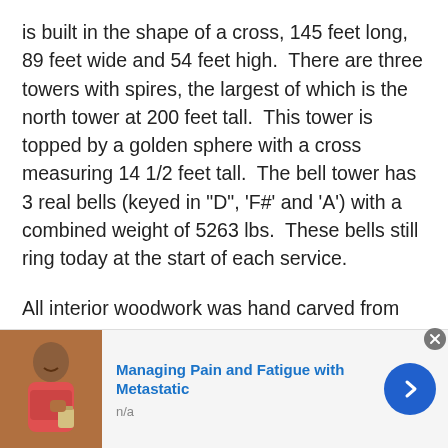is built in the shape of a cross, 145 feet long, 89 feet wide and 54 feet high.  There are three towers with spires, the largest of which is the north tower at 200 feet tall.  This tower is topped by a golden sphere with a cross measuring 14 1/2 feet tall.  The bell tower has 3 real bells (keyed in "D", 'F#' and 'A') with a combined weight of 5263 lbs.  These bells still ring today at the start of each service.
All interior woodwork was hand carved from Wisconsin Oak and Ash.  The pulpit, a creation of Gothic art in wood, is shaped like a communion chalice and topped
[Figure (other): Advertisement banner: photo of a person holding a cup, with text 'Managing Pain and Fatigue with Metastatic' and 'n/a', plus a blue arrow button and close X button.]